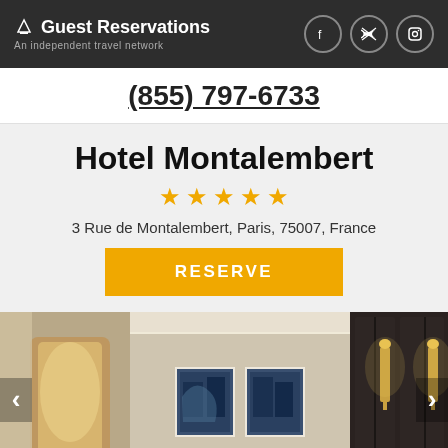Guest Reservations – An independent travel network
(855) 797-6733
Hotel Montalembert
★★★★★
3 Rue de Montalembert, Paris, 75007, France
RESERVE
[Figure (photo): Interior photo of a hotel room at Hotel Montalembert, showing elegant decor with dark wood wardrobe panels, gold accent lighting sconces, framed artwork on the wall, and an arched doorway with warm lighting]